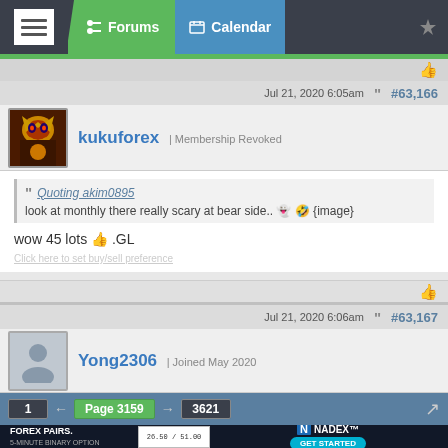Forums | Calendar
Jul 21, 2020 6:05am  #63,166
kukuforex | Membership Revoked
Quoting akim0895
look at monthly there really scary at bear side.. {image}
wow 45 lots .GL
Jul 21, 2020 6:06am  #63,167
Yong2306 | Joined May 2020
1  ← Page 3159 → 3621